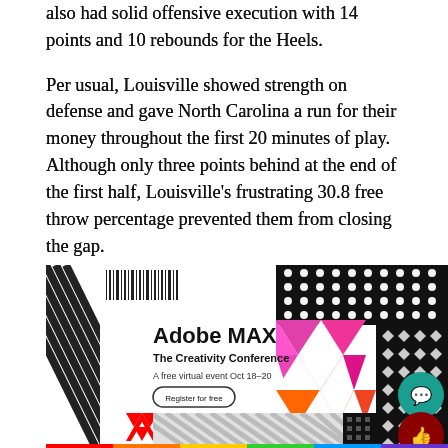also had solid offensive execution with 14 points and 10 rebounds for the Heels.
Per usual, Louisville showed strength on defense and gave North Carolina a run for their money throughout the first 20 minutes of play. Although only three points behind at the end of the first half, Louisville's frustrating 30.8 free throw percentage prevented them from closing the gap.
[Figure (other): Adobe MAX advertisement banner. Shows 'Adobe MAX - The Creativity Conference. A free virtual event Oct 18-20. Register for free.' with colorful geometric pattern of triangles (pink, orange, red) and dot grids on right side, black diagonal stripes and barcode on left, Adobe logo at bottom left. Two circular buttons overlay: teal chat bubble and dark red thumbs-up. Rainbow colored bar at very bottom.]